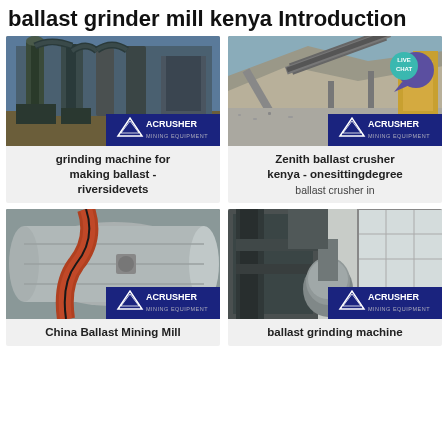ballast grinder mill kenya Introduction
[Figure (photo): Industrial grinding mill equipment outdoors with ACRUSHER MINING EQUIPMENT logo]
grinding machine for making ballast - riversidevets
[Figure (photo): Ballast crusher conveyor belt operation in Kenya with LIVE CHAT badge and ACRUSHER MINING EQUIPMENT logo]
Zenith ballast crusher kenya - onesittingdegree
ballast crusher in
[Figure (photo): China ballast mining mill machinery with large cylindrical grinder with ACRUSHER MINING EQUIPMENT logo]
China Ballast Mining Mill
[Figure (photo): Ballast grinding machine industrial equipment with ACRUSHER MINING EQUIPMENT logo]
ballast grinding machine